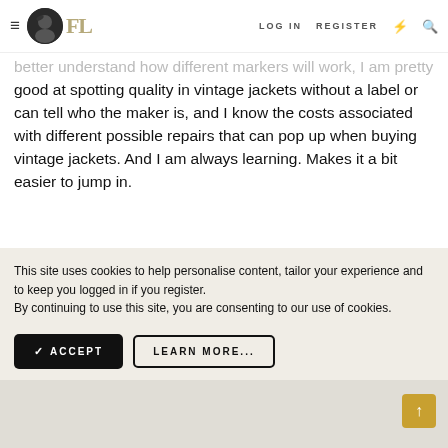FL — LOG IN  REGISTER
better understand how different markers will work, I am pretty good at spotting quality in vintage jackets without a label or can tell who the maker is, and I know the costs associated with different possible repairs that can pop up when buying vintage jackets. And I am always learning. Makes it a bit easier to jump in.
This site uses cookies to help personalise content, tailor your experience and to keep you logged in if you register.
By continuing to use this site, you are consenting to our use of cookies.
✓ ACCEPT    LEARN MORE...